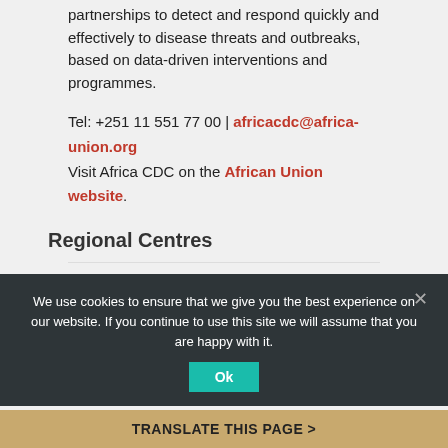…Africa public health institutions as well as partnerships to detect and respond quickly and effectively to disease threats and outbreaks, based on data-driven interventions and programmes.
Tel: +251 11 551 77 00 | africacdc@africa-union.org
Visit Africa CDC on the African Union website.
Regional Centres
Central Africa RCC
Eastern Africa RCC
We use cookies to ensure that we give you the best experience on our website. If you continue to use this site we will assume that you are happy with it.
TRANSLATE THIS PAGE >